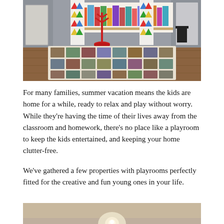[Figure (photo): Interior photo of a children's playroom with colorful patchwork rug on hardwood floor, multicolored triangle-print curtains, a red coat rack stand, and wall-mounted bookshelves with children's books in the background.]
For many families, summer vacation means the kids are home for a while, ready to relax and play without worry. While they’re having the time of their lives away from the classroom and homework, there’s no place like a playroom to keep the kids entertained, and keeping your home clutter-free.
We’ve gathered a few properties with playrooms perfectly fitted for the creative and fun young ones in your life.
[Figure (photo): Partial view of an interior room, cropped at the bottom of the page, showing a warm-toned ceiling or wall with a light fixture.]